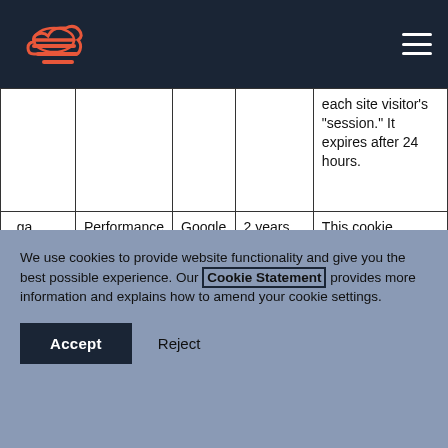Navigation bar with logo and menu
|  |  |  |  |  |
| --- | --- | --- | --- | --- |
|  |  |  |  | each site visitor's "session." It expires after 24 hours. |
| _ga | Performance | Google | 2 years after session | This cookie assigns a unique identifier to visitors to the site. It is a longer- |
We use cookies to provide website functionality and give you the best possible experience. Our Cookie Statement provides more information and explains how to amend your cookie settings.
Accept  Reject